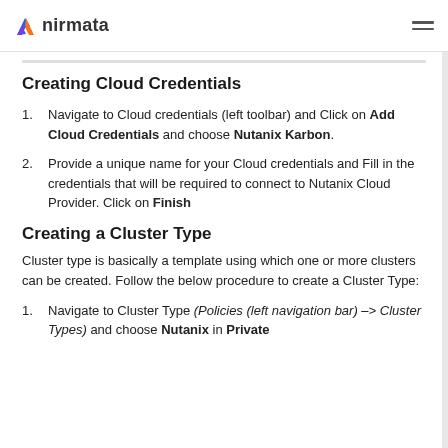nirmata
Creating Cloud Credentials
Navigate to Cloud credentials (left toolbar) and Click on Add Cloud Credentials and choose Nutanix Karbon.
Provide a unique name for your Cloud credentials and Fill in the credentials that will be required to connect to Nutanix Cloud Provider. Click on Finish
Creating a Cluster Type
Cluster type is basically a template using which one or more clusters can be created. Follow the below procedure to create a Cluster Type:
Navigate to Cluster Type (Policies (left navigation bar) -> Cluster Types) and choose Nutanix in Private